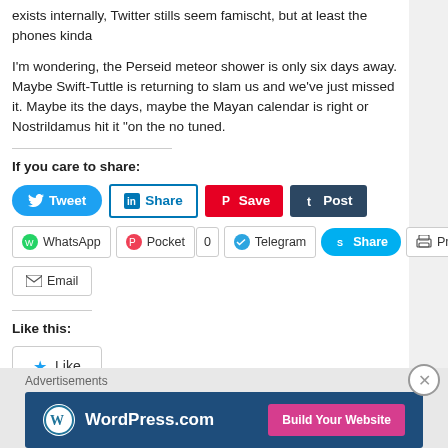exists internally, Twitter stills seem famischt, but at least the phones kinda
I'm wondering, the Perseid meteor shower is only six days away. Maybe Swift-Tuttle is returning to slam us and we've just missed it. Maybe its the days, maybe the Mayan calendar is right or Nostrildamus hit it "on the no tuned.
If you care to share:
[Figure (screenshot): Social share buttons: Tweet, Share (LinkedIn), Save (Pinterest), Post (Tumblr), WhatsApp, Pocket (0), Telegram, Share (Skype), Print, Email]
Like this:
[Figure (screenshot): Like button widget with star icon and 'Be the first to like this.' text]
Advertisements
[Figure (screenshot): WordPress.com advertisement banner with 'Build Your Website' button]